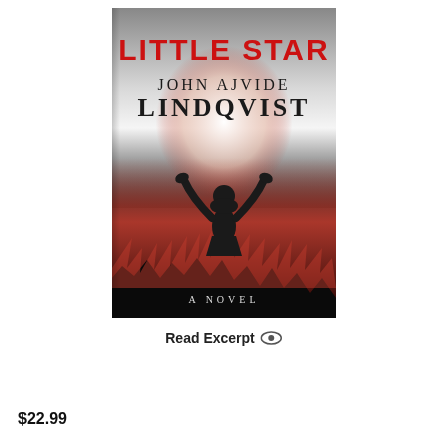[Figure (illustration): Book cover of 'Little Star' by John Ajvide Lindqvist. A novel. Red title text at top, author name in black serif below, silhouette of a girl with arms raised against a glowing white and red background with a dark crowd.]
Read Excerpt 👁
$22.99